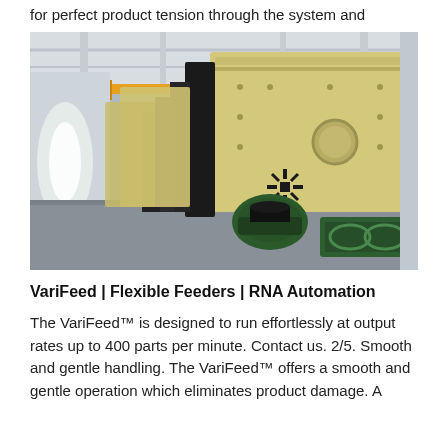for perfect product tension through the system and
[Figure (photo): Industrial warehouse interior showing large yellow/cream vibratory screening machines lined up in a row, with black metal components, green motorized drives, and a yellow overhead crane visible in the background under a metal roof structure.]
VariFeed | Flexible Feeders | RNA Automation
The VariFeed™ is designed to run effortlessly at output rates up to 400 parts per minute. Contact us. 2/5. Smooth and gentle handling. The VariFeed™ offers a smooth and gentle operation which eliminates product damage. A